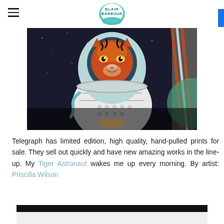Blair Barbour
[Figure (photo): Photograph of a mural depicting a tiger wearing an astronaut suit, set against a space background with stars. The tiger has an orange and red face visible through the helmet visor. The spacesuit is white with detailed texturing.]
Telegraph has limited edition, high quality, hand-pulled prints for sale. They sell out quickly and have new amazing works in the line-up. My Tiger Astronaut wakes me up every morning. By artist: Priscilla Wilson
[Figure (photo): Bottom edge of another image, showing a dark/black top bar with white below, partially visible at the bottom of the page.]